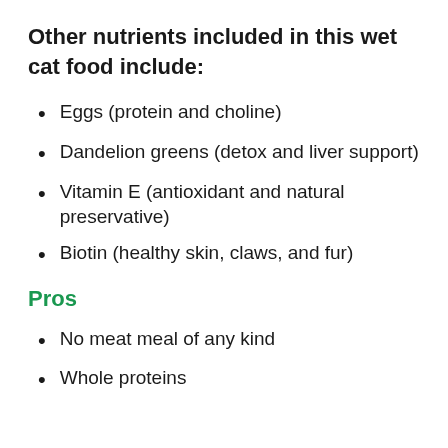Other nutrients included in this wet cat food include:
Eggs (protein and choline)
Dandelion greens (detox and liver support)
Vitamin E (antioxidant and natural preservative)
Biotin (healthy skin, claws, and fur)
Pros
No meat meal of any kind
Whole proteins